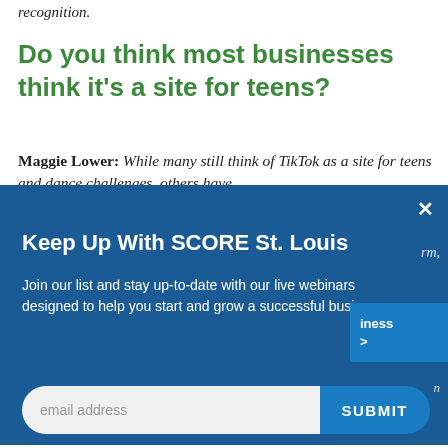recognition.
Do you think most businesses think it's a site for teens?
Maggie Lower: While many still think of TikTok as a site for teens and dance challenges, others have
[Figure (screenshot): Email signup modal overlay for SCORE St. Louis with title 'Keep Up With SCORE St. Louis', subtitle text 'Join our list and stay up-to-date with our live webinars designed to help you start and grow a successful business.', email input field, and SUBMIT button. Blue background with X close button.]
According to our Digital 2022 Report, most of the TikTok audience is Gen Z, with 42% of the audience aged 18 to 24. However, that still leaves over half of the